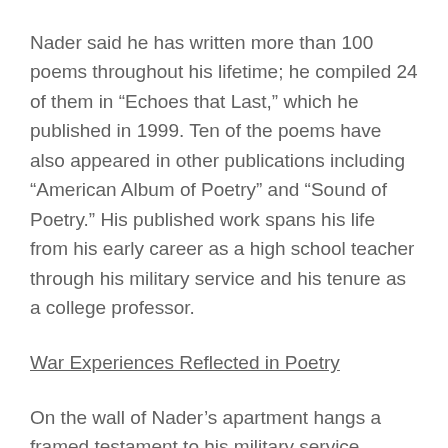Nader said he has written more than 100 poems throughout his lifetime; he compiled 24 of them in “Echoes that Last,” which he published in 1999. Ten of the poems have also appeared in other publications including “American Album of Poetry” and “Sound of Poetry.” His published work spans his life from his early career as a high school teacher through his military service and his tenure as a college professor.
War Experiences Reflected in Poetry
On the wall of Nader’s apartment hangs a framed testament to his military service,